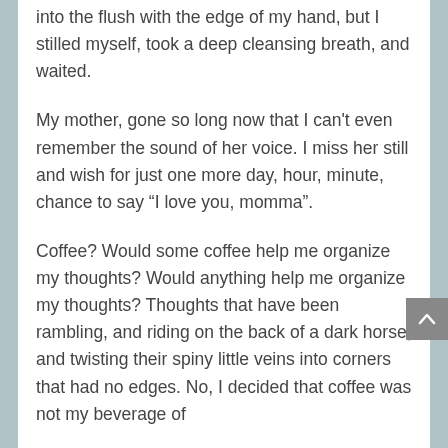into the flush with the edge of my hand, but I stilled myself, took a deep cleansing breath, and waited.
My mother, gone so long now that I can't even remember the sound of her voice. I miss her still and wish for just one more day, hour, minute, chance to say “I love you, momma”.
Coffee? Would some coffee help me organize my thoughts? Would anything help me organize my thoughts? Thoughts that have been rambling, and riding on the back of a dark horse, and twisting their spiny little veins into corners that had no edges. No, I decided that coffee was not my beverage of